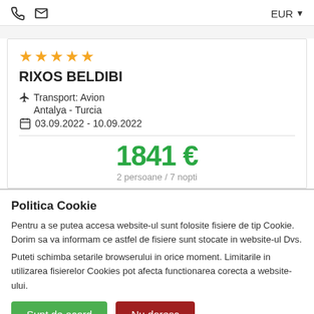EUR
★★★★★ RIXOS BELDIBI — Transport: Avion, Antalya - Turcia, 03.09.2022 - 10.09.2022
1841 €
2 persoane / 7 nopti
Politica Cookie
Pentru a se putea accesa website-ul sunt folosite fisiere de tip Cookie. Dorim sa va informam ce astfel de fisiere sunt stocate in website-ul Dvs.
Puteti schimba setarile browserului in orice moment. Limitarile in utilizarea fisierelor Cookies pot afecta functionarea corecta a website-ului.
Sunt de acord
Nu doresc